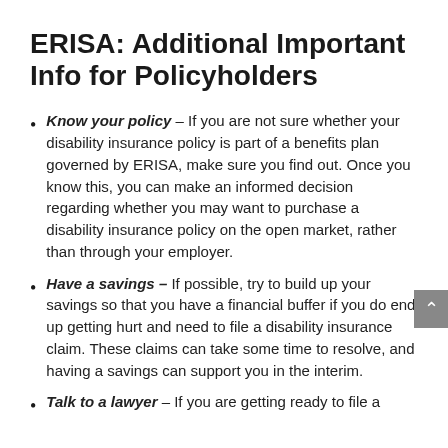ERISA: Additional Important Info for Policyholders
Know your policy – If you are not sure whether your disability insurance policy is part of a benefits plan governed by ERISA, make sure you find out. Once you know this, you can make an informed decision regarding whether you may want to purchase a disability insurance policy on the open market, rather than through your employer.
Have a savings – If possible, try to build up your savings so that you have a financial buffer if you do end up getting hurt and need to file a disability insurance claim. These claims can take some time to resolve, and having a savings can support you in the interim.
Talk to a lawyer – If you are getting ready to file a